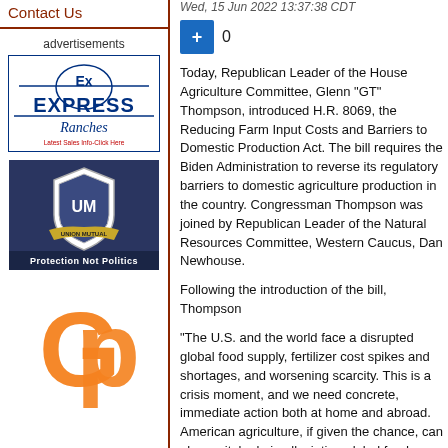Contact Us
advertisements
[Figure (logo): Express Ranches logo with blue text and ranch branding, 'Latest Sales Info-Click Here']
[Figure (logo): Union Mutual shield logo with 'Protection Not Politics' tagline on dark blue background]
[Figure (logo): GP orange letter logo on white background]
Wed, 15 Jun 2022 13:37:38 CDT
0
Today, Republican Leader of the House Agriculture Committee, Glenn "GT" Thompson, introduced H.R. 8069, the Reducing Farm Input Costs and Barriers to Domestic Production Act. The bill requires the Biden Administration to reverse its regulatory barriers to domestic agriculture production in the country. Congressman Thompson was joined by Republican Leader of the Natural Resources Committee, Western Caucus, Dan Newhouse.
Following the introduction of the bill, Thompson
"The U.S. and the world face a disrupted global food supply, fertilizer cost spikes and shortages, and worsening scarcity. This is a crisis moment, and we need concrete, immediate action both at home and abroad. American agriculture, if given the chance, can play a vital role in alleviating global food instability a
"Despite these circumstances, the Biden Admin